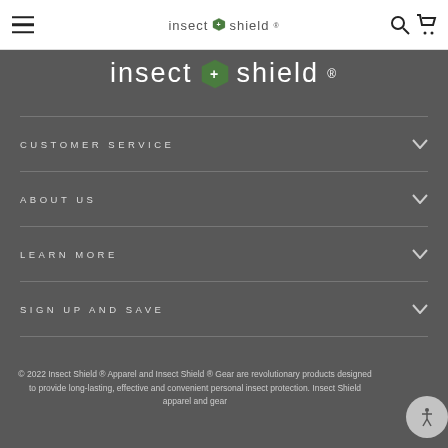insect shield (navigation bar with hamburger menu, search, and cart icons)
insect shield
CUSTOMER SERVICE
ABOUT US
LEARN MORE
SIGN UP AND SAVE
© 2022 Insect Shield ® Apparel and Insect Shield ® Gear are revolutionary products designed to provide long-lasting, effective and convenient personal insect protection. Insect Shield apparel and gear